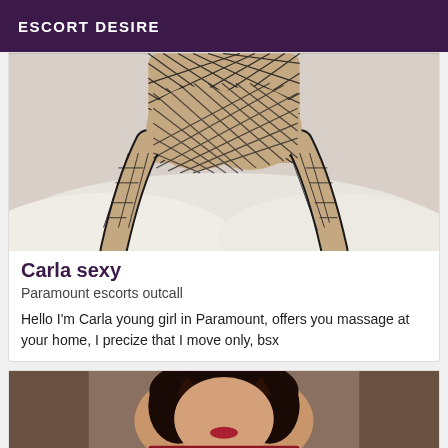ESCORT DESIRE
[Figure (photo): Photo showing person wearing fishnet stockings on a white bed, viewed from behind]
Carla sexy
Paramount escorts outcall
Hello I'm Carla young girl in Paramount, offers you massage at your home, I precize that I move only, bsx
[Figure (photo): Partial photo of a person with dark hair wearing a red outfit, cat ears visible]